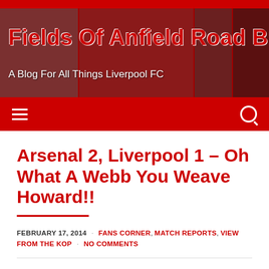Fields Of Anfield Road Blog – A Blog For All Things Liverpool FC
Arsenal 2, Liverpool 1 – Oh What A Webb You Weave Howard!!
FEBRUARY 17, 2014 · FANS CORNER, MATCH REPORTS, VIEW FROM THE KOP · NO COMMENTS
Unlike last week after Liverpool's 5-1 demolition of Arsenal, quality of football and goals wasn't the main talking point after the game. Yet again, the talking point